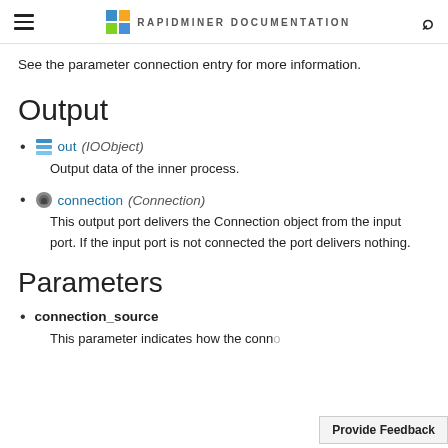RAPIDMINER DOCUMENTATION
See the parameter connection entry for more information.
Output
out (IOObject)
Output data of the inner process.
connection (Connection)
This output port delivers the Connection object from the input port. If the input port is not connected the port delivers nothing.
Parameters
connection_source
This parameter indicates how the conn...